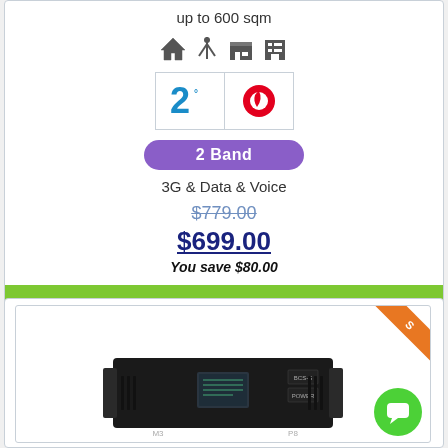up to 600 sqm
[Figure (illustration): Row of four building/structure icons: house, antenna tower, shop/store, multi-story building]
[Figure (logo): Two carrier logos side by side: '2degrees' (blue 2 logo) and 'Vodafone' (red Vodafone logo) in bordered boxes]
2 Band
3G & Data & Voice
$779.00
$699.00
You save $80.00
More info
[Figure (photo): Black rack-mounted electronic device (signal booster/repeater) with orange sale ribbon in top-right corner, green chat bubble icon bottom-right]